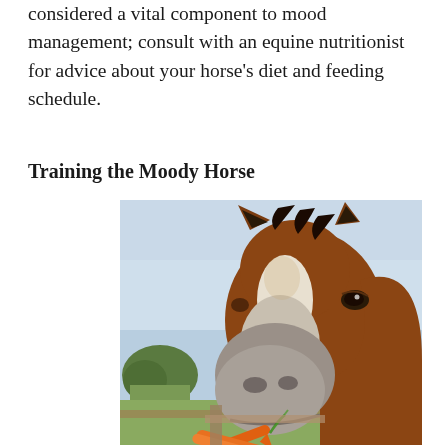considered a vital component to mood management; consult with an equine nutritionist for advice about your horse's diet and feeding schedule.
Training the Moody Horse
[Figure (photo): Close-up photograph of a brown horse with a white blaze on its nose, holding an orange carrot in its mouth, looking directly at the camera with a humorous expression. Green trees and a fence are visible in the blurred background.]